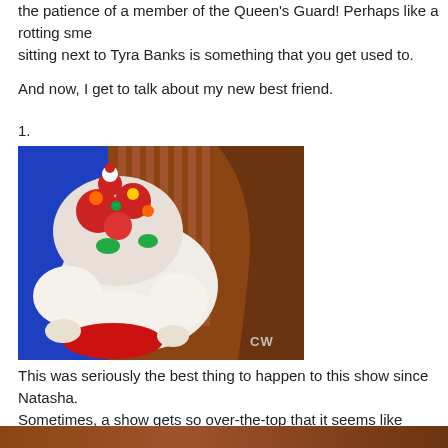the patience of a member of the Queen's Guard! Perhaps like a rotting sme sitting next to Tyra Banks is something that you get used to.
And now, I get to talk about my new best friend.
1.
[Figure (photo): A Chinese lion dance costume/puppet with colorful decorations (red, white, green) against a blue background and wooden brown panels, with a CW network watermark in the bottom right corner.]
This was seriously the best thing to happen to this show since Natasha. Sometimes, a show gets so over-the-top that it seems like there's no where to go. And then in come the puppets and everything makes perfect nonsens once again.
Just the way they were introduced was amazing.